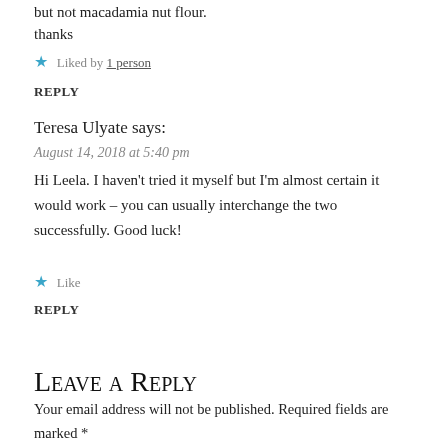but not macadamia nut flour.
thanks
★ Liked by 1 person
REPLY
Teresa Ulyate says:
August 14, 2018 at 5:40 pm
Hi Leela. I haven't tried it myself but I'm almost certain it would work – you can usually interchange the two successfully. Good luck!
★ Like
REPLY
Leave a Reply
Your email address will not be published. Required fields are marked *